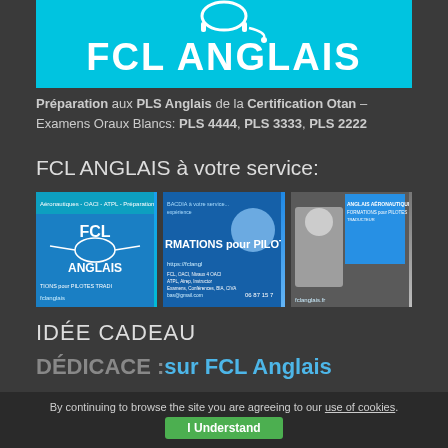[Figure (logo): FCL ANGLAIS blue banner with headphone icon and bold white text]
Préparation aux PLS Anglais de la Certification Otan – Examens Oraux Blancs: PLS 4444, PLS 3333, PLS 2222
FCL ANGLAIS à votre service:
[Figure (photo): Three promotional images for FCL Anglais showing logos, people and banners for pilot English training]
IDÉE CADEAU
DÉDICACE :sur FCL Anglais
By continuing to browse the site you are agreeing to our use of cookies. I Understand